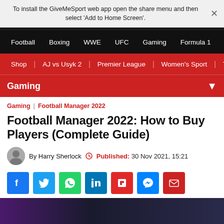To install the GiveMeSport web app open the share menu and then select 'Add to Home Screen'.
Football  Boxing  WWE  UFC  Gaming  Formula 1
Shop | AJ vs Usyk 2 | Premier League | Women's Sport | Th
Gaming
Gaming  |  Football Manager 2022
Football Manager 2022: How to Buy Players (Complete Guide)
By Harry Sherlock  Published: 30 Nov 2021, 15:21
[Figure (infographic): Social media sharing icons: Facebook, Twitter, WhatsApp, LinkedIn, Flipboard, Messenger, Email]